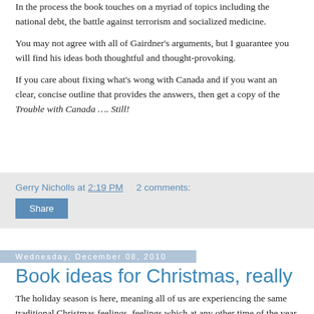In the process the book touches on a myriad of topics including the national debt, the battle against terrorism and socialized medicine.
You may not agree with all of Gairdner’s arguments, but I guarantee you will find his ideas both thoughtful and thought-provoking.
If you care about fixing what’s wong with Canada and if you want an clear, concise outline that provides the answers, then get a copy of the Trouble with Canada …. Still!
Gerry Nicholls at 2:19 PM     2 comments:
Share
Wednesday, December 08, 2010
Book ideas for Christmas, really
The holiday season is here, meaning all of us are experiencing the same traditional Christmas feelings, feelings which at any other time of the year would be called